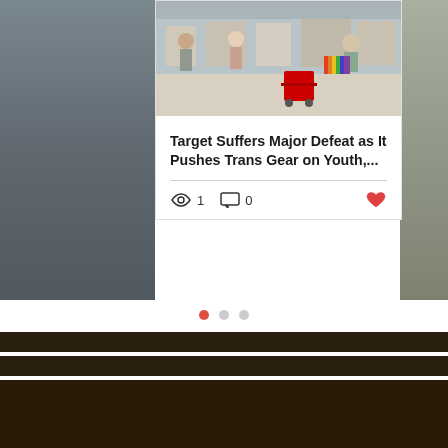[Figure (photo): Partial view of a person on the left side (appears to be wearing dark clothing)]
[Figure (photo): Interior of a Target store showing clothing displays, mannequins, red shopping cart, and shoppers]
[Figure (photo): Partial view of a person on the right side (back of head visible)]
Target Suffers Major Defeat as It Pushes Trans Gear on Youth,...
1 views, 0 comments, like button
[Figure (infographic): Pagination dots: one active red dot and two grey dots]
[Figure (illustration): Dark brown banded footer/navigation section with multiple horizontal bars]